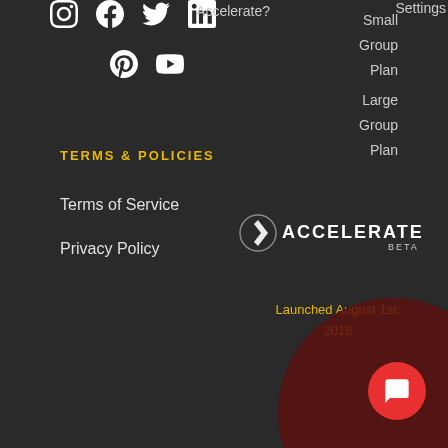[Figure (illustration): Social media icons row 1: Instagram, Facebook, Twitter, LinkedIn]
[Figure (illustration): Social media icons row 2: Pinterest, YouTube]
Accelerate?
Small
Group
Plan
Settings
Large
Group
Plan
TERMS & POLICIES
Terms of Service
Privacy Policy
[Figure (logo): Accelerate Beta logo with circular arrow icon and text ACCELERATE BETA]
Launched August 1st, 2018
[Figure (illustration): Dark red large circle decorative element in bottom right]
[Figure (illustration): Red circular chat/message button in bottom right corner]